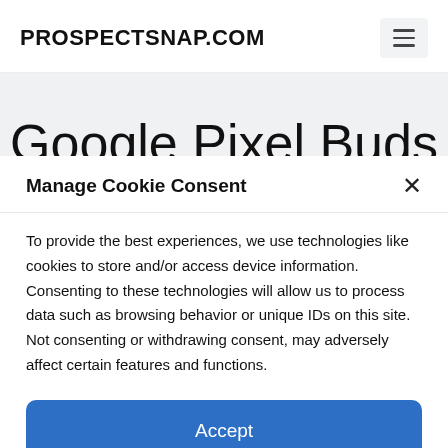PROSPECTSNAP.COM
Google Pixel Buds
Manage Cookie Consent
To provide the best experiences, we use technologies like cookies to store and/or access device information. Consenting to these technologies will allow us to process data such as browsing behavior or unique IDs on this site. Not consenting or withdrawing consent, may adversely affect certain features and functions.
Accept
Cookie Policy